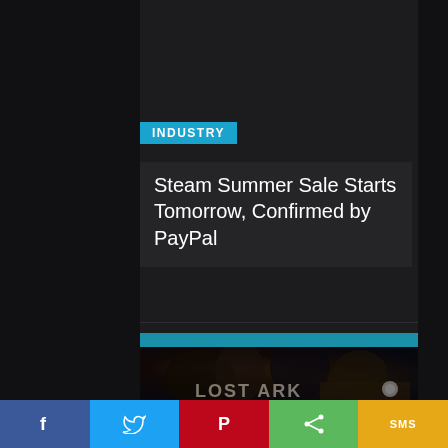INDUSTRY
Steam Summer Sale Starts Tomorrow, Confirmed by PayPal
[Figure (screenshot): Game artwork showing dark fantasy characters (Lost Ark), with Steam and other gaming icons visible at the bottom right of the image]
[Figure (infographic): Social share bar with five buttons: Facebook (f), Twitter (bird icon), Pinterest (P), Share (< icon), SMS]